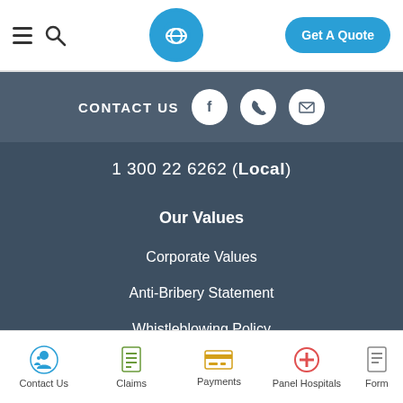Navigation bar with hamburger menu, search icon, logo, and Get A Quote button
CONTACT US  1 300 22 6262 (Local)
Our Values
Corporate Values
Anti-Bribery Statement
Whistleblowing Policy
Privacy Statement
Disclaimer
Contact Us  Claims  Payments  Panel Hospitals  Form